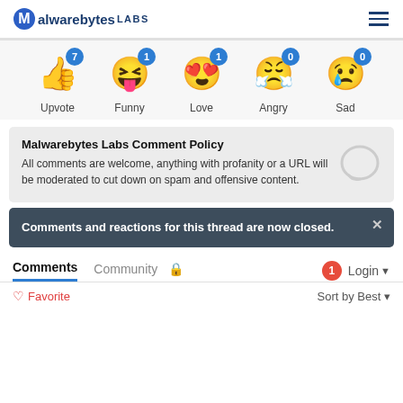Malwarebytes LABS
[Figure (infographic): Reaction emoji row: Upvote (thumbs up, count 7), Funny (laughing face, count 1), Love (heart eyes, count 1), Angry (steam face, count 0), Sad (crying face, count 0)]
Malwarebytes Labs Comment Policy
All comments are welcome, anything with profanity or a URL will be moderated to cut down on spam and offensive content.
Comments and reactions for this thread are now closed.
Comments	Community	🔒	1 Login